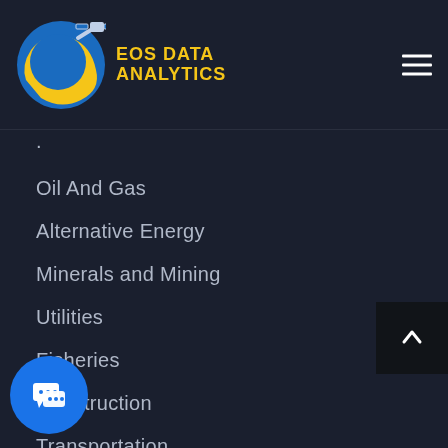EOS DATA ANALYTICS
Oil And Gas
Alternative Energy
Minerals and Mining
Utilities
Fisheries
Construction
Transportation
Maritime
Insurance and Finance
Communications
and Media
Real Estate Management